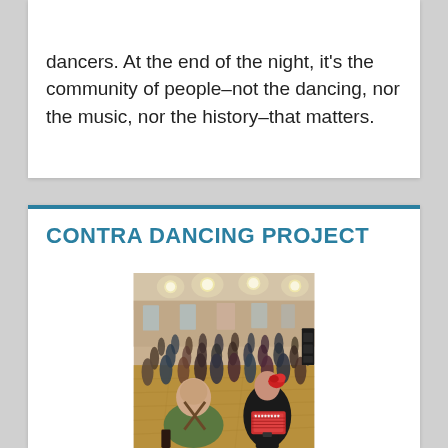dancers. At the end of the night, it's the community of people–not the dancing, nor the music, nor the history–that matters.
CONTRA DANCING PROJECT
[Figure (photo): A crowded contra dance event in a large hall. In the foreground, two musicians are seen from behind — one in a green t-shirt with a strap over their shoulder, and one in a black dress with red hair accessories playing an accordion-like instrument. The dance floor is filled with many couples dancing, with bright lights overhead and wooden floors visible.]